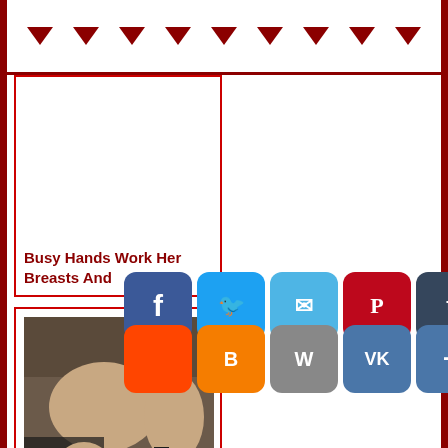Navigation header with triangle/arrow icons
Busy Hands Work Her Breasts And
[Figure (photo): Photo of a woman in black stockings]
Girl In Black Stockings S...
[Figure (other): Social sharing buttons: Facebook, Twitter, Email, Pinterest, Tumblr, Reddit, Blogger, WordPress, VK, More]